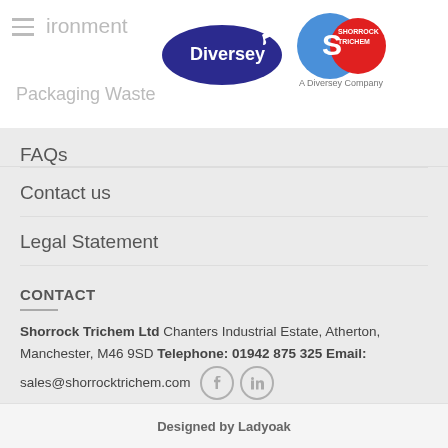[Figure (logo): Diversey logo (dark blue oval with white Diversey text and bird) and Shorrock Trichem logo (blue/red circle with S mark and text 'A Diversey Company')]
ironment
Packaging Waste
FAQs
Contact us
Legal Statement
CONTACT
Shorrock Trichem Ltd Chanters Industrial Estate, Atherton, Manchester, M46 9SD Telephone: 01942 875 325 Email: sales@shorrocktrichem.com
Designed by Ladyoak